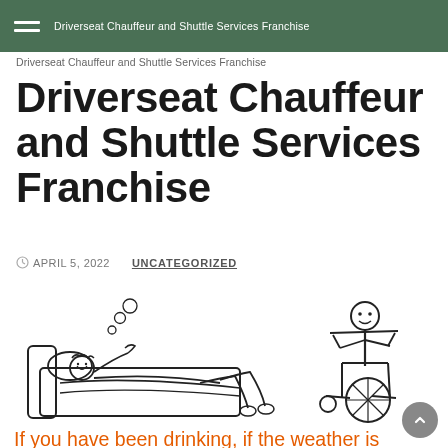Driverseat Chauffeur and Shuttle Services Franchise
Driverseat Chauffeur and Shuttle Services Franchise
APRIL 5, 2022   UNCATEGORIZED
[Figure (illustration): Cartoon illustration showing two scenes: a person lying in bed with a hangover/sleeping, and a person in a wheelchair. Orange text below reads 'If you have been drinking, if the weather is']
If you have been drinking, if the weather is